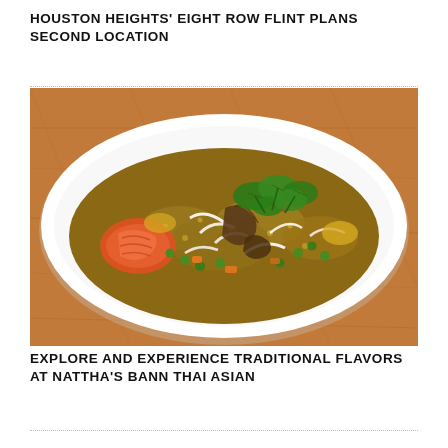HOUSTON HEIGHTS' EIGHT ROW FLINT PLANS SECOND LOCATION
[Figure (photo): A white oval plate filled with Thai fried rice topped with shrimp, vegetables including green peas and carrots, bean sprouts, mushrooms, and garnished with fresh cilantro leaves, served on a wooden table.]
EXPLORE AND EXPERIENCE TRADITIONAL FLAVORS AT NATTHA'S BANN THAI ASIAN